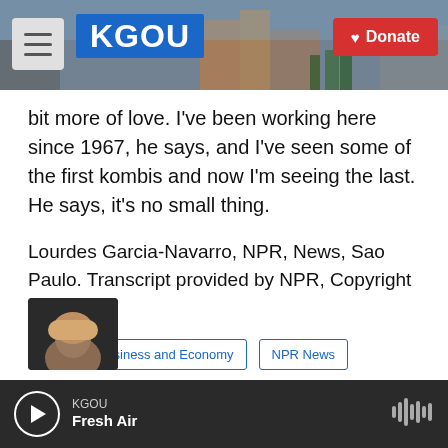[Figure (screenshot): KGOU radio station website header with hamburger menu, KGOU logo in blue, city skyline background photo, and red Donate button]
bit more of love. I've been working here since 1967, he says, and I've seen some of the first kombis and now I'm seeing the last. He says, it's no small thing.
Lourdes Garcia-Navarro, NPR, News, Sao Paulo. Transcript provided by NPR, Copyright NPR.
Tags  Business and Economy  NPR News
[Figure (screenshot): Social sharing buttons: Facebook (blue), Twitter (blue), LinkedIn (blue), Email (white with border)]
[Figure (screenshot): Partial author avatar photo (dark background, partial face visible at bottom)]
KGOU  Fresh Air